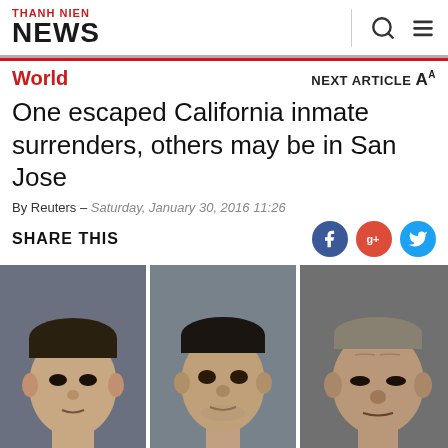THANH NIEN NEWS
World
One escaped California inmate surrenders, others may be in San Jose
By Reuters – Saturday, January 30, 2016 11:26
SHARE THIS
[Figure (photo): Three mugshot photos of escaped California inmates side by side]